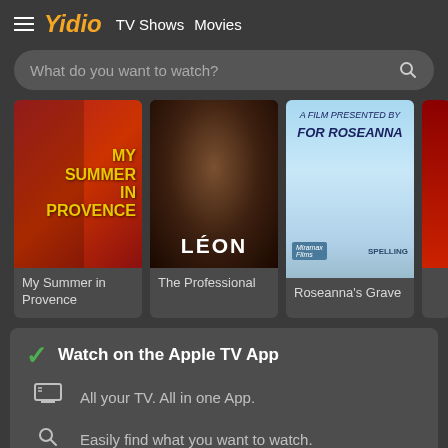Yidio  TV Shows  Movies
What do you want to watch?
[Figure (screenshot): Movie poster for My Summer in Provence with red background and yellow text]
My Summer in Provence
[Figure (screenshot): Movie poster for The Professional (Léon) with dark background and white LÉON text]
The Professional
[Figure (screenshot): Movie poster for Roseanna's Grave with blue/light background]
Roseanna's Grave
Watch on the Apple TV App
All your TV. All in one App.
Easily find what you want to watch.